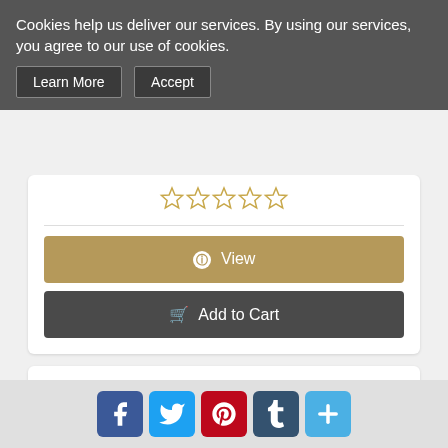Cookies help us deliver our services. By using our services, you agree to our use of cookies.
Learn More | Accept
[Figure (other): Five empty star rating icons in gold/yellow outline]
View
Add to Cart
[Figure (photo): Open first aid kit case with medical supplies inside]
First Aid Kit: Pac-Kit by First Aid Only...
[Figure (other): Social media share buttons: Facebook, Twitter, Pinterest, Tumblr, and a plus/share button]